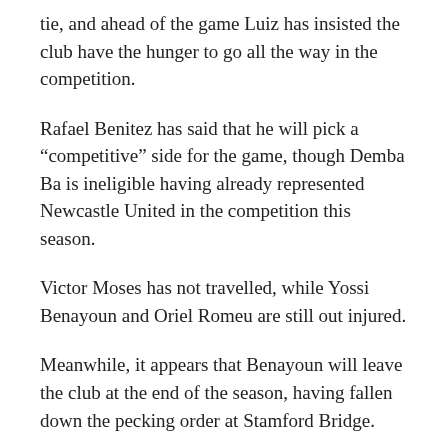tie, and ahead of the game Luiz has insisted the club have the hunger to go all the way in the competition.
Rafael Benitez has said that he will pick a “competitive” side for the game, though Demba Ba is ineligible having already represented Newcastle United in the competition this season.
Victor Moses has not travelled, while Yossi Benayoun and Oriel Romeu are still out injured.
Meanwhile, it appears that Benayoun will leave the club at the end of the season, having fallen down the pecking order at Stamford Bridge.
The Israeli midfielder has started just one league game since joining the Blues back in 2010, and has had loan spells at Arsenal and previous club West Ham United.
Elsewhere, the Telegraph report that Chelsea will battle